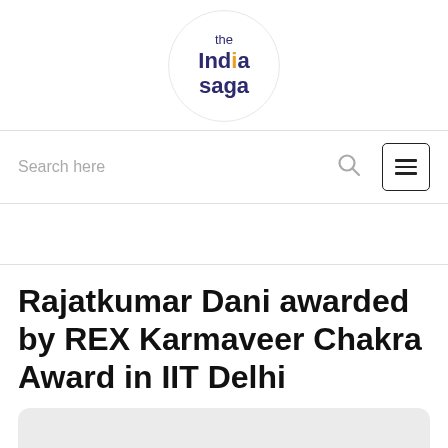[Figure (logo): The India Saga logo inside a circle. Text reads 'the India saga' with an orange dot on the letter 'i' in India.]
Search here
[Figure (screenshot): Gray area representing an advertisement banner]
Rajatkumar Dani awarded by REX Karmaveer Chakra Award in IIT Delhi
[Figure (photo): Light gray image placeholder with a darker gray circle at the bottom center, partially visible.]